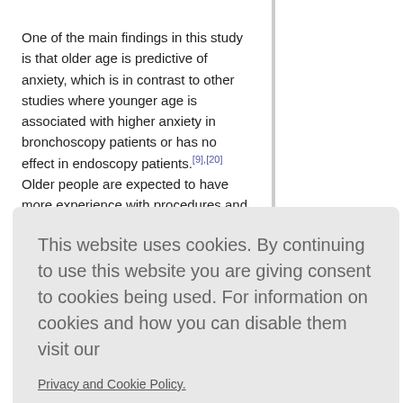One of the main findings in this study is that older age is predictive of anxiety, which is in contrast to other studies where younger age is associated with higher anxiety in bronchoscopy patients or has no effect in endoscopy patients.[9],[20] Older people are expected to have more experience with procedures and health facilities and perhaps can tolerate invasive procedures with stoicism and wisdom. Nevertheless, in this study older
to be more common in obese patients.[...]
This website uses cookies. By continuing to use this website you are giving consent to cookies being used. For information on cookies and how you can disable them visit our
Privacy and Cookie Policy.
AGREE & PROCEED